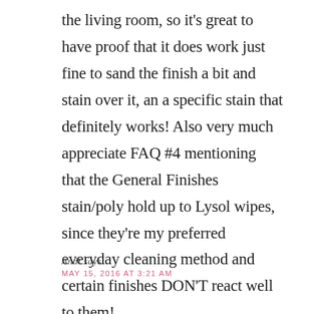the living room, so it's great to have proof that it does work just fine to sand the finish a bit and stain over it, an a specific stain that definitely works! Also very much appreciate FAQ #4 mentioning that the General Finishes stain/poly hold up to Lysol wipes, since they're my preferred everyday cleaning method and certain finishes DON'T react well to them!
Andi says
MAY 15, 2016 AT 3:21 AM